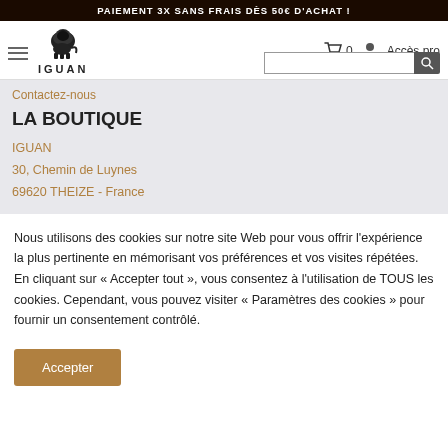PAIEMENT 3X SANS FRAIS DÈS 50€ D'ACHAT !
[Figure (logo): IGUAN brand logo with lion illustration and text IGUAN]
0  Accès pro
Contactez-nous
LA BOUTIQUE
IGUAN
30, Chemin de Luynes
69620 THEIZE - France
Nous utilisons des cookies sur notre site Web pour vous offrir l'expérience la plus pertinente en mémorisant vos préférences et vos visites répétées. En cliquant sur « Accepter tout », vous consentez à l'utilisation de TOUS les cookies. Cependant, vous pouvez visiter « Paramètres des cookies » pour fournir un consentement contrôlé.
Accepter